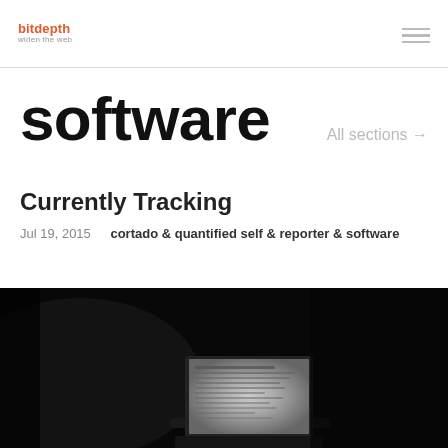bitdepth — widen the web
software
All sections →
Currently Tracking
Jul 19, 2015   cortado & quantified self & reporter & software
[Figure (photo): Dark photograph showing a laptop screen open in a dimly lit environment, displaying text content on screen]